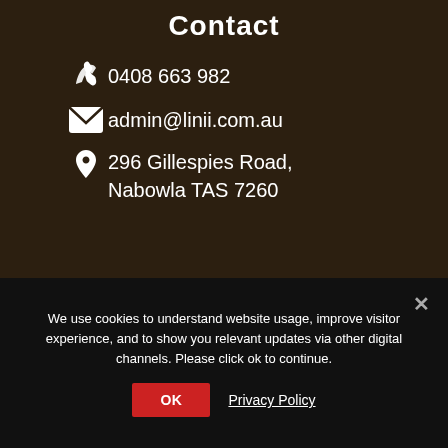Contact
0408 663 982
admin@linii.com.au
296 Gillespies Road, Nabowla TAS 7260
We use cookies to understand website usage, improve visitor experience, and to show you relevant updates via other digital channels. Please click ok to continue.
OK
Privacy Policy